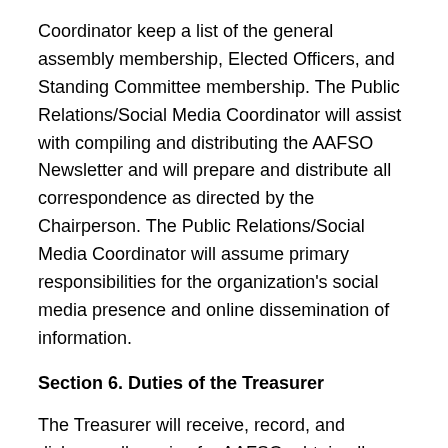Coordinator keep a list of the general assembly membership, Elected Officers, and Standing Committee membership. The Public Relations/Social Media Coordinator will assist with compiling and distributing the AAFSO Newsletter and will prepare and distribute all correspondence as directed by the Chairperson. The Public Relations/Social Media Coordinator will assume primary responsibilities for the organization's social media presence and online dissemination of information.
Section 6. Duties of the Treasurer
The Treasurer will receive, record, and disburse all monies for AAFSO, obtain all required signatures for the disbursements and maintain all receipts of purchases. The Treasurer will prepare an annual budget